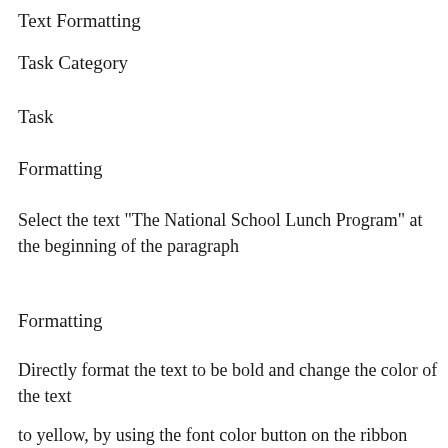Text Formatting
Task Category
Task
Formatting
Select the text "The National School Lunch Program" at the beginning of the paragraph
Formatting
Directly format the text to be bold and change the color of the text
to yellow, by using the font color button on the ribbon